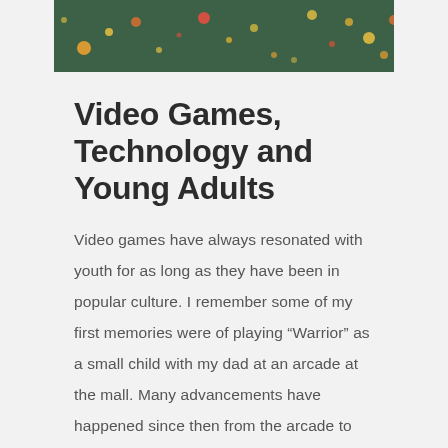[Figure (illustration): Dark green banner/header image with decorative colorful dots and circles scattered across it (orange, yellow, red, small white dots on a dark green background)]
Video Games, Technology and Young Adults
Video games have always resonated with youth for as long as they have been in popular culture. I remember some of my first memories were of playing “Warrior” as a small child with my dad at an arcade at the mall. Many advancements have happened since then from the arcade to the home console and pc